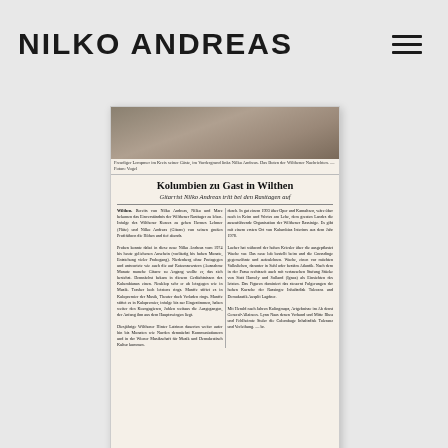NILKO ANDREAS
[Figure (photo): Scanned German newspaper clipping titled 'Kolumbien zu Gast in Wilthen' with a photo at top, headline, subheadline 'Gitarrist Nilko Andreas tritt bei den Rasttagen auf', and two columns of German text body copy.]